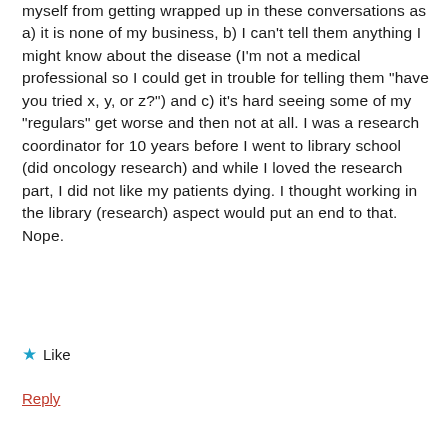myself from getting wrapped up in these conversations as a) it is none of my business, b) I can't tell them anything I might know about the disease (I'm not a medical professional so I could get in trouble for telling them "have you tried x, y, or z?") and c) it's hard seeing some of my "regulars" get worse and then not at all. I was a research coordinator for 10 years before I went to library school (did oncology research) and while I loved the research part, I did not like my patients dying. I thought working in the library (research) aspect would put an end to that. Nope.
★ Like
Reply